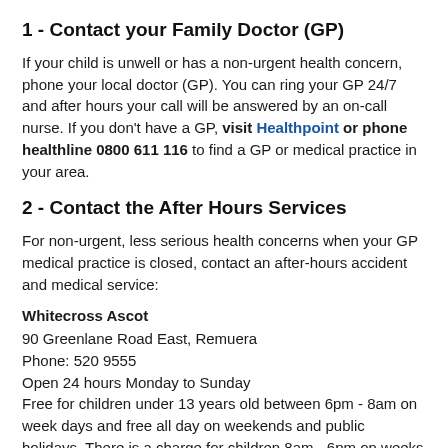1 - Contact your Family Doctor (GP)
If your child is unwell or has a non-urgent health concern, phone your local doctor (GP). You can ring your GP 24/7 and after hours your call will be answered by an on-call nurse. If you don't have a GP, visit Healthpoint or phone healthline 0800 611 116 to find a GP or medical practice in your area.
2 - Contact the After Hours Services
For non-urgent, less serious health concerns when your GP medical practice is closed, contact an after-hours accident and medical service:
Whitecross Ascot
90 Greenlane Road East, Remuera
Phone: 520 9555
Open 24 hours Monday to Sunday
Free for children under 13 years old between 6pm - 8am on week days and free all day on weekends and public holidays. There is a charge for children 8am - 6pm on weeks days so best go to your normal GP at this time.